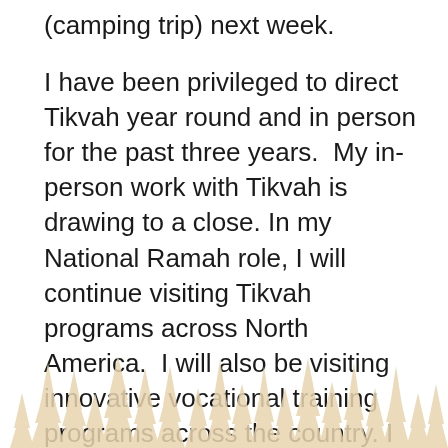(camping trip) next week.
I have been privileged to direct Tikvah year round and in person for the past three years.  My in-person work with Tikvah is drawing to a close. In my National Ramah role, I will continue visiting Tikvah programs across North America.  I will also be visiting innovative vocational training programs across the country. I will continue to be in close contact with Tikvah and with the Ramah Galim community.  We are so proud of the inclusive community Ramah Galim continues to be!
[Figure (illustration): Decorative silhouette of pine/fir trees in a warm tan/beige color at the bottom of the page]